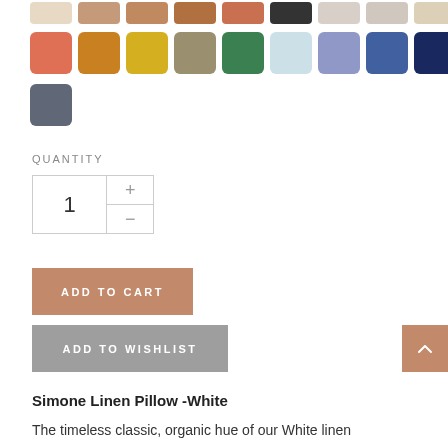[Figure (other): Color swatch selector showing two partial rows: top row (cropped) with beige/tan/brown/rust/peach/dark/light/light/beige swatches; second full row with coral/orange/yellow/sage/green/light-blue/periwinkle/steel-blue/navy swatches; third row with charcoal swatch only.]
QUANTITY
[Figure (other): Quantity stepper control showing value '1' with plus and minus buttons]
[Figure (other): ADD TO CART button in tan/brown color]
[Figure (other): ADD TO WISHLIST button in gray color]
[Figure (other): Back to top arrow button in tan/brown color]
Simone Linen Pillow -White
The timeless classic, organic hue of our White linen